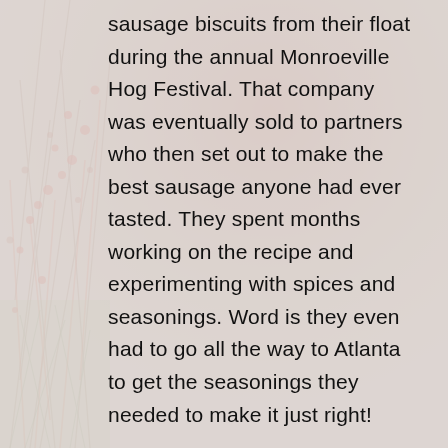[Figure (photo): Background photo of red/brown wild plants and grass in a muted, earthy outdoor setting with pinkish-tan overlay]
sausage biscuits from their float during the annual Monroeville Hog Festival. That company was eventually sold to partners who then set out to make the best sausage anyone had ever tasted. They spent months working on the recipe and experimenting with spices and seasonings. Word is they even had to go all the way to Atlanta to get the seasonings they needed to make it just right!

Well, people loved it. In fact, you could hardly find a family gathering or cookout that didn't feature Monroeville Brand Smoked Sausage. Kids grew up with it as part of their lives. And as it's fame and flavor spread through word of